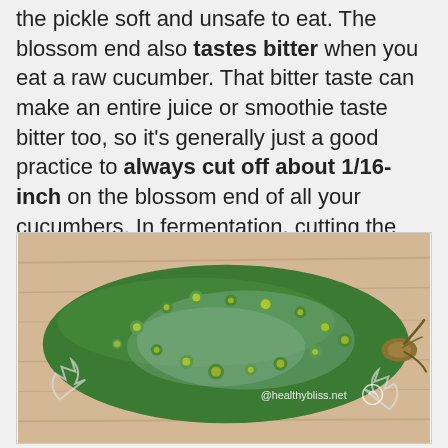the pickle soft and unsafe to eat. The blossom end also tastes bitter when you eat a raw cucumber. That bitter taste can make an entire juice or smoothie taste bitter too, so it's generally just a good practice to always cut off about 1/16-inch on the blossom end of all your cucumbers. In fermentation, cutting the blossom ends will help your pickles get more crisp and crunchy.
[Figure (photo): A close-up photo of a green cucumber (pickling variety) with bumpy skin and yellow-green spines/warts, lying on a light wooden surface. A watermark reads '@healthybliss.net' in the lower right area.]